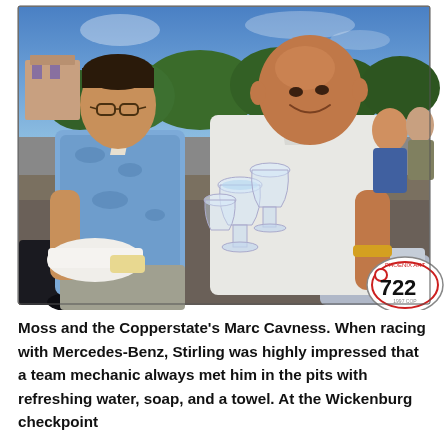[Figure (photo): Two men outdoors holding wine glasses and a white bowl. The man on the left wears a blue patterned Hawaiian shirt and glasses; the man on the right wears a white polo shirt and has a gold bracelet. A race car number plate reading '722' with 'PHOENIX ART' and partial '1997 COP' text is visible in the foreground. Trees, buildings, and other people are visible in the background.]
Moss and the Copperstate's Marc Cavness. When racing with Mercedes-Benz, Stirling was highly impressed that a team mechanic always met him in the pits with refreshing water, soap, and a towel. At the Wickenburg checkpoint